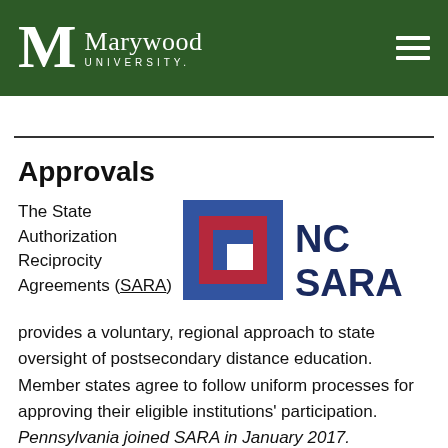Marywood University
Approvals
[Figure (logo): NC-SARA logo with interlocking square design in blue, red, and dark red, with 'NC SARA' text in dark navy]
The State Authorization Reciprocity Agreements (SARA) provides a voluntary, regional approach to state oversight of postsecondary distance education. Member states agree to follow uniform processes for approving their eligible institutions' participation. Pennsylvania joined SARA in January 2017.